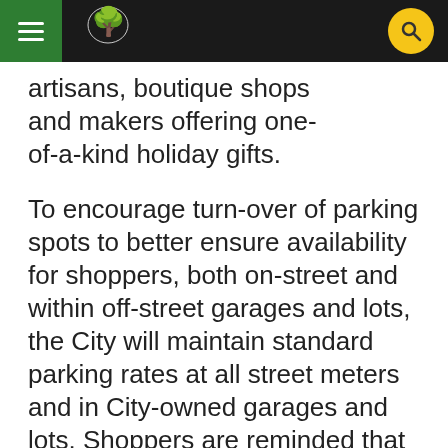City navigation header with hamburger menu, tree logo, and search button
…artisans, boutique shops and makers offering one-of-a-kind holiday gifts.
To encourage turn-over of parking spots to better ensure availability for shoppers, both on-street and within off-street garages and lots, the City will maintain standard parking rates at all street meters and in City-owned garages and lots. Shoppers are reminded that parking at street meters and in